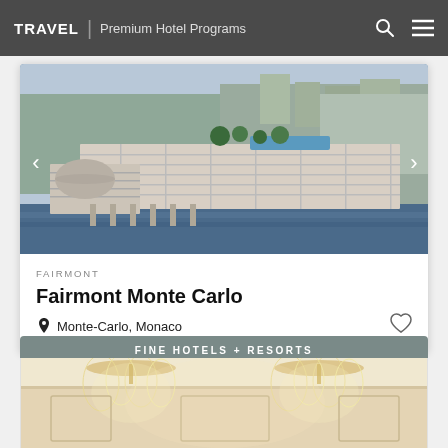TRAVEL | Premium Hotel Programs
[Figure (photo): Aerial view of Fairmont Monte Carlo hotel complex on the waterfront in Monaco, showing multi-story buildings, marina, and Mediterranean setting]
FAIRMONT
Fairmont Monte Carlo
Monte-Carlo, Monaco
FINE HOTELS + RESORTS
[Figure (photo): Interior ballroom or banquet hall with elegant crystal chandeliers hanging from an ornate white ceiling, warm golden lighting]